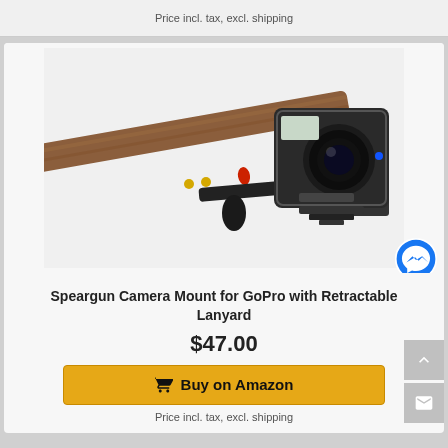Price incl. tax, excl. shipping
[Figure (photo): A GoPro camera in a waterproof case mounted on a speargun barrel with a retractable lanyard mount]
Speargun Camera Mount for GoPro with Retractable Lanyard
$47.00
Buy on Amazon
Price incl. tax, excl. shipping